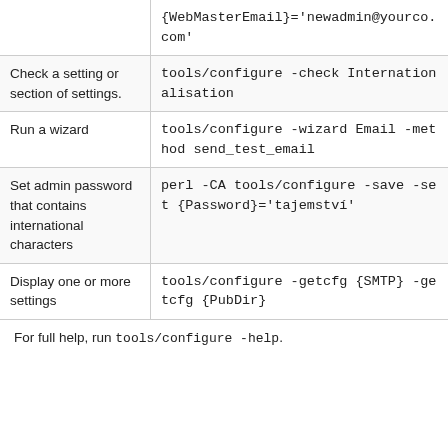| Description | Command |
| --- | --- |
|  | {WebMasterEmail}='newadmin@yourco.com' |
| Check a setting or section of settings. | tools/configure -check Internationalisation |
| Run a wizard | tools/configure -wizard Email -method send_test_email |
| Set admin password that contains international characters | perl -CA tools/configure -save -set {Password}='tajemstvi' |
| Display one or more settings | tools/configure -getcfg {SMTP} -getcfg {PubDir} |
For full help, run tools/configure -help.